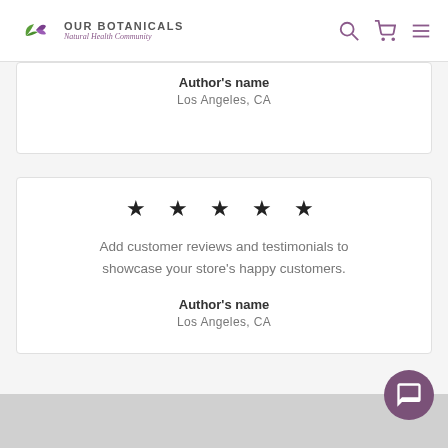Our Botanicals Natural Health Community
Author's name
Los Angeles, CA
★ ★ ★ ★ ★
Add customer reviews and testimonials to showcase your store's happy customers.
Author's name
Los Angeles, CA